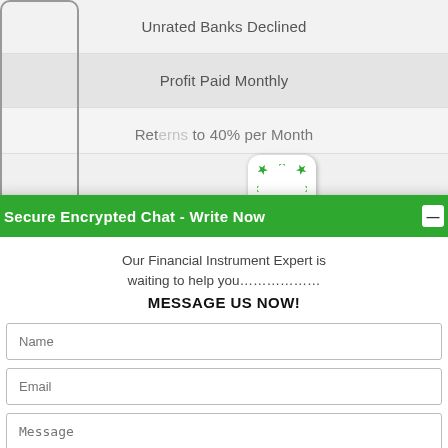Unrated Banks Declined
Profit Paid Monthly
Returns to 40% per Month
Our Objective:
To ensure our valu... protect and presen...
Why Investors C...
Professional invest... move away from st... cash to Small Caps...
Private Placement...
[Figure (logo): TrustedSite logo with green checkmark badge]
[Figure (illustration): Chat plugin icon with circular green stars arrangement on white rounded square]
Secure Encrypted Chat - Write Now
Our Financial Instrument Expert is waiting to help you.............. MESSAGE US NOW!
Name
Email
Message
I agree for my personal data to be processed and for the use of cookies in order to engage in a chat
Send message